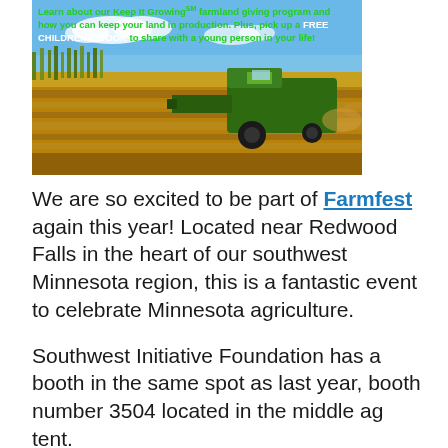[Figure (photo): A photograph of a green combine harvester working in a golden corn/grain field under a blue sky. Overlaid text in green reads: 'Learn about our Keep It Growing℠ farmland giving program and how you can keep your land in production. Plus, pick up a FREE CHILDREN'S BOOK to share with a young person in your life!']
We are so excited to be part of Farmfest again this year! Located near Redwood Falls in the heart of our southwest Minnesota region, this is a fantastic event to celebrate Minnesota agriculture.
Southwest Initiative Foundation has a booth in the same spot as last year, booth number 3504 located in the middle ag tent.
We're giving free books to kids as a way to